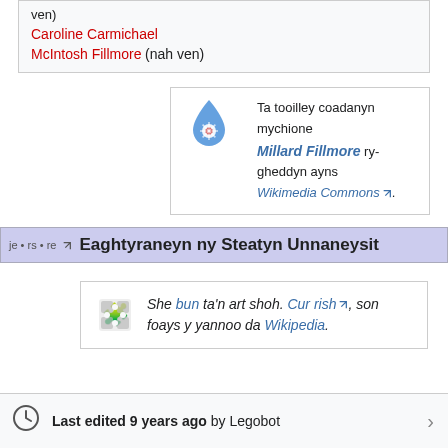| ven) |
| Caroline Carmichael |
| McIntosh Fillmore (nah ven) |
[Figure (other): Wikimedia Commons box with Wikimedia Commons logo (blue droplet with snowflake), text: Ta tooilley coadanyn mychione Millard Fillmore ry-gheddyn ayns Wikimedia Commons.]
Eaghtyraneyn ny Steatyn Unnaneysit
She bun ta'n art shoh. Cur rish, son foays y yannoo da Wikipedia.
Last edited 9 years ago by Legobot